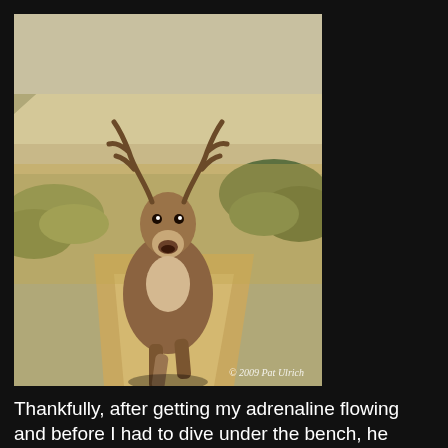[Figure (photo): A male deer (buck) with antlers running directly toward the camera down a dirt path, with dry brush, golden grasses, and mountains in the background. Photo credit: © 2009 Pat Ulrich]
Thankfully, after getting my adrenaline flowing and before I had to dive under the bench, he veered off the path and into the bushes -- but first stopping to give me this perfect pose.